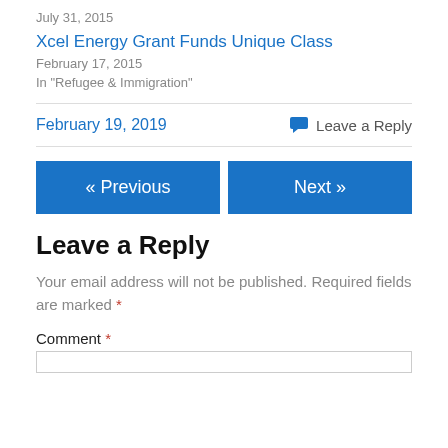July 31, 2015
Xcel Energy Grant Funds Unique Class
February 17, 2015
In "Refugee & Immigration"
February 19, 2019
Leave a Reply
« Previous
Next »
Leave a Reply
Your email address will not be published. Required fields are marked *
Comment *